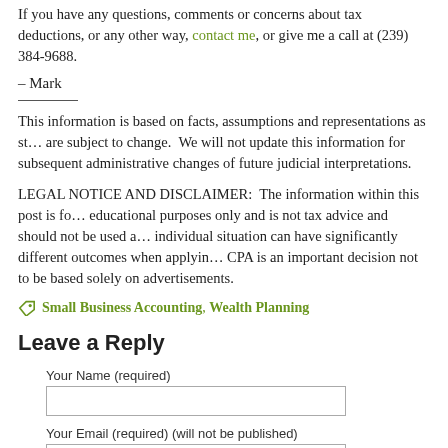If you have any questions, comments or concerns about tax deductions, or any other way, contact me, or give me a call at (239) 384-9688.
– Mark
This information is based on facts, assumptions and representations as stated and are subject to change. We will not update this information for subsequent legislative or administrative changes of future judicial interpretations.
LEGAL NOTICE AND DISCLAIMER: The information within this post is for educational purposes only and is not tax advice and should not be used as such. Each individual situation can have significantly different outcomes when applying tax law. Choosing a CPA is an important decision not to be based solely on advertisements.
Small Business Accounting, Wealth Planning
Leave a Reply
Your Name (required)
Your Email (required) (will not be published)
Your Website (optional)